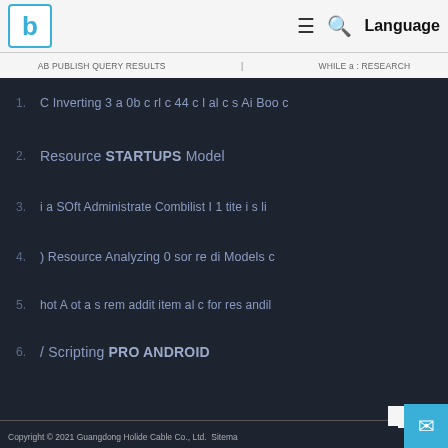[Figure (logo): Blue letter b logo in a cyan-bordered white box]
≡  🔍  Language
AB PUBLISH QUERY RESULTS    WHILE a:RESEARCH
1. C Inverting 3 a 0b c rl c 44 c I al c s Ai Boo c
2. Resource STARTUPS Model
3. i a SOft Administrate Combilist I 1 tite i s li
4. ) Resource Analyzing 0 sor re di Models c
5. hot A ot a s rem addit item al c for res andil
6. / Scripting PRO ANDROID
Top   Copyright © 2021 Guangdong Holide Cable Co., Ltd.  Sitema...